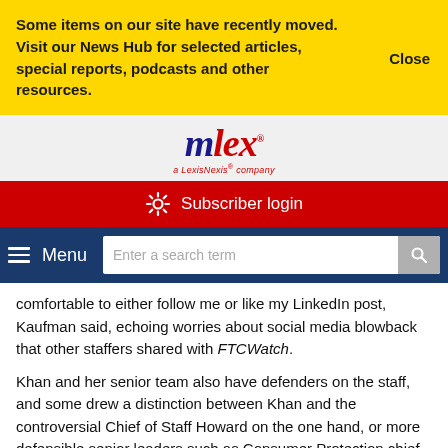Some items on our site have recently moved. Visit our News Hub for selected articles, special reports, podcasts and other resources.
[Figure (logo): mlex a LexisNexis company logo]
Subscriber login
Menu  Enter a search term
comfortable to either follow me or like my LinkedIn post, Kaufman said, echoing worries about social media blowback that other staffers shared with FTCWatch.
Khan and her senior team also have defenders on the staff, and some drew a distinction between Khan and the controversial Chief of Staff Howard on the one hand, or more defensible senior leaders such as Consumer Protection chief Sam Levine on the other hand.